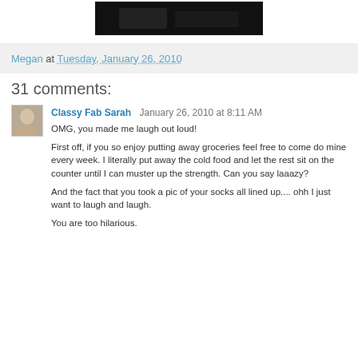[Figure (photo): Partial photo visible at top of page, dark tones, appears to be a partial crop of a previous image]
Megan at Tuesday, January 26, 2010
31 comments:
Classy Fab Sarah  January 26, 2010 at 8:11 AM
OMG, you made me laugh out loud!

First off, if you so enjoy putting away groceries feel free to come do mine every week. I literally put away the cold food and let the rest sit on the counter until I can muster up the strength. Can you say laaazy?

And the fact that you took a pic of your socks all lined up.... ohh I just want to laugh and laugh.

You are too hilarious.